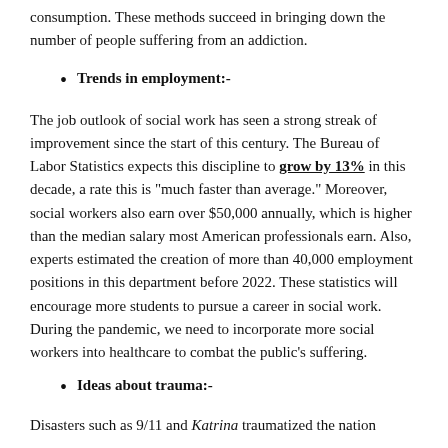consumption. These methods succeed in bringing down the number of people suffering from an addiction.
Trends in employment:-
The job outlook of social work has seen a strong streak of improvement since the start of this century. The Bureau of Labor Statistics expects this discipline to grow by 13% in this decade, a rate this is “much faster than average.” Moreover, social workers also earn over $50,000 annually, which is higher than the median salary most American professionals earn. Also, experts estimated the creation of more than 40,000 employment positions in this department before 2022. These statistics will encourage more students to pursue a career in social work. During the pandemic, we need to incorporate more social workers into healthcare to combat the public’s suffering.
Ideas about trauma:-
Disasters such as 9/11 and Katrina traumatized the nation